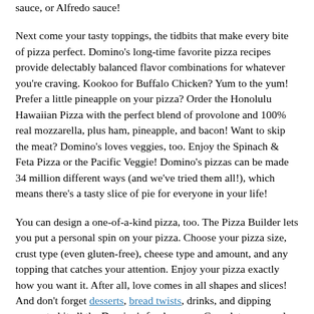sauce, or Alfredo sauce!
Next come your tasty toppings, the tidbits that make every bite of pizza perfect. Domino's long-time favorite pizza recipes provide delectably balanced flavor combinations for whatever you're craving. Kookoo for Buffalo Chicken? Yum to the yum! Prefer a little pineapple on your pizza? Order the Honolulu Hawaiian Pizza with the perfect blend of provolone and 100% real mozzarella, plus ham, pineapple, and bacon! Want to skip the meat? Domino's loves veggies, too. Enjoy the Spinach & Feta Pizza or the Pacific Veggie! Domino's pizzas can be made 34 million different ways (and we've tried them all!), which means there's a tasty slice of pie for everyone in your life!
You can design a one-of-a-kind pizza, too. The Pizza Builder lets you put a personal spin on your pizza. Choose your pizza size, crust type (even gluten-free), cheese type and amount, and any topping that catches your attention. Enjoy your pizza exactly how you want it. After all, love comes in all shapes and slices! And don't forget desserts, bread twists, drinks, and dipping sauces to hit all the Domino's food groups. Complete your order and prepare yourself. It's alright if your mouth literally starts watering. Deliciousness is in the oven and about to head your way for